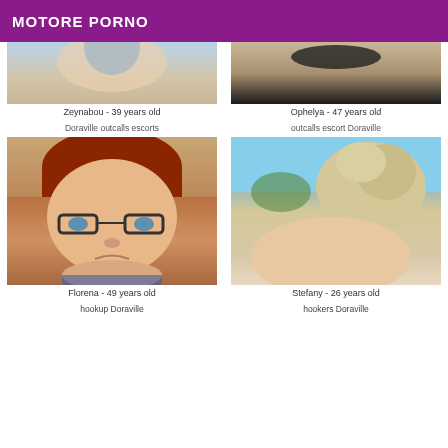MOTORE PORNO
Zeynabou - 39 years old
Ophelya - 47 years old
Doraville outcalls escorts
outcalls escort Doraville
[Figure (photo): Photo of Florena, partial face closeup]
[Figure (photo): Photo of Stefany, hair and skin closeup]
Florena - 49 years old
Stefany - 26 years old
hookup Doraville
hookers Doraville